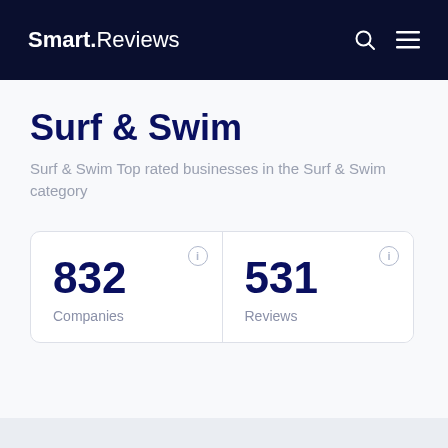Smart.Reviews
Surf & Swim
Surf & Swim Top rated businesses in the Surf & Swim category
| Companies | Reviews |
| --- | --- |
| 832 | 531 |